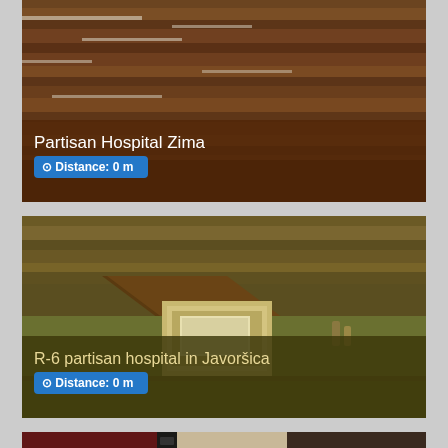[Figure (photo): Interior photo of wooden ceiling beams and planks of Partisan Hospital Zima, with a dark overlay showing the title and distance badge]
[Figure (photo): Interior photo of R-6 partisan hospital in Javoršica showing wooden ceiling beams and a doorway with greenish walls, with an olive-colored overlay showing the title and distance badge]
[Figure (photo): Partial view of a third card showing black and white and color photos, cut off at bottom of page]